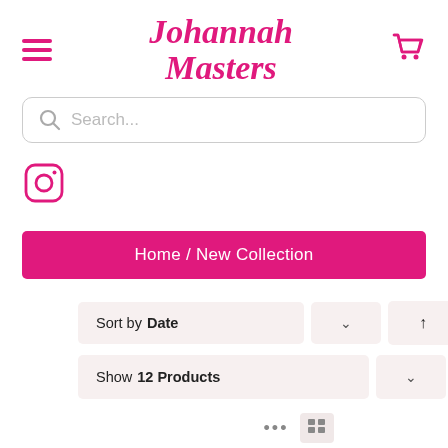[Figure (logo): Hamburger menu icon (three pink horizontal lines)]
Johannah Masters
[Figure (logo): Shopping cart icon in pink]
[Figure (other): Search bar with magnifying glass icon and placeholder text 'Search...']
[Figure (logo): Instagram icon (rounded square with circle) in pink]
Home / New Collection
Sort by Date
Show 12 Products